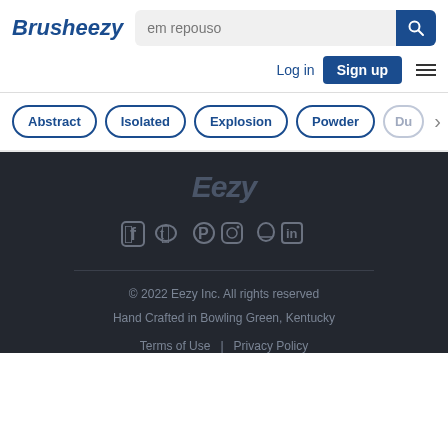Brusheezy
em repouso
Abstract
Isolated
Explosion
Powder
[Figure (logo): Eezy logo in grey italic font]
[Figure (infographic): Social media icons: Facebook, Twitter, Pinterest, Instagram, Snapchat, LinkedIn]
© 2022 Eezy Inc. All rights reserved
Hand Crafted in Bowling Green, Kentucky
Terms of Use | Privacy Policy